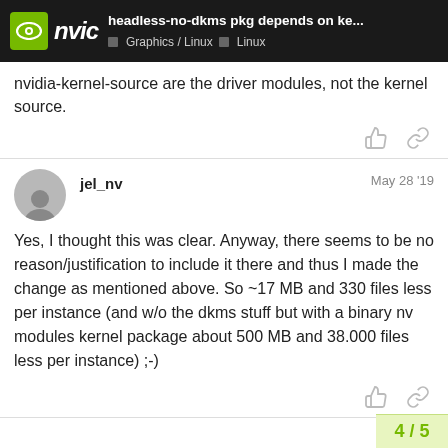headless-no-dkms pkg depends on ke... | Graphics / Linux | Linux
nvidia-kernel-source are the driver modules, not the kernel source.
Yes, I thought this was clear. Anyway, there seems to be no reason/justification to include it there and thus I made the change as mentioned above. So ~17 MB and 330 files less per instance (and w/o the dkms stuff but with a binary nv modules kernel package about 500 MB and 38.000 files less per instance) ;-)
4/5